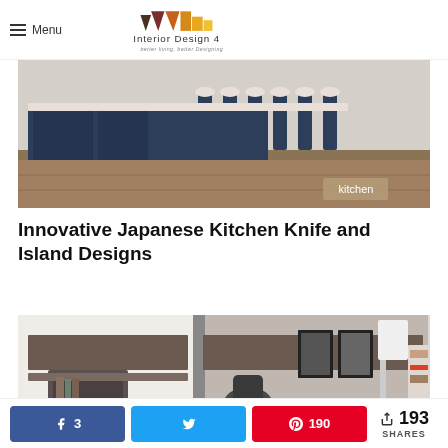Interior Design 4 — better living, better Designing
[Figure (photo): Dark navy blue kitchen island with bar stools on hardwood floor]
Innovative Japanese Kitchen Knife and Island Designs
[Figure (photo): Modern office/home workspace with grey furniture, desk, shelves, and lamp]
Share bar: Facebook 3, Twitter, Pinterest 190, Total 193 SHARES